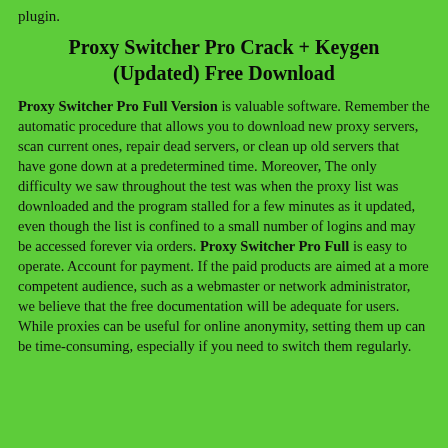plugin.
Proxy Switcher Pro Crack + Keygen (Updated) Free Download
Proxy Switcher Pro Full Version is valuable software. Remember the automatic procedure that allows you to download new proxy servers, scan current ones, repair dead servers, or clean up old servers that have gone down at a predetermined time. Moreover, The only difficulty we saw throughout the test was when the proxy list was downloaded and the program stalled for a few minutes as it updated, even though the list is confined to a small number of logins and may be accessed forever via orders. Proxy Switcher Pro Full is easy to operate. Account for payment. If the paid products are aimed at a more competent audience, such as a webmaster or network administrator, we believe that the free documentation will be adequate for users. While proxies can be useful for online anonymity, setting them up can be time-consuming, especially if you need to switch them regularly.